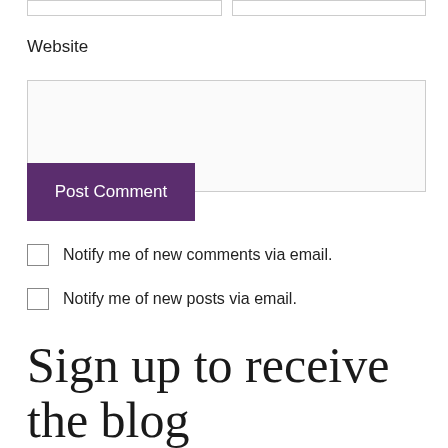Website
Post Comment
Notify me of new comments via email.
Notify me of new posts via email.
Sign up to receive the blog